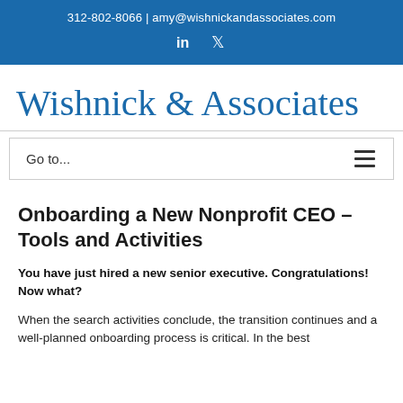312-802-8066 | amy@wishnickandassociates.com
Wishnick & Associates
Go to...
Onboarding a New Nonprofit CEO – Tools and Activities
You have just hired a new senior executive. Congratulations! Now what?
When the search activities conclude, the transition continues and a well-planned onboarding process is critical. In the best